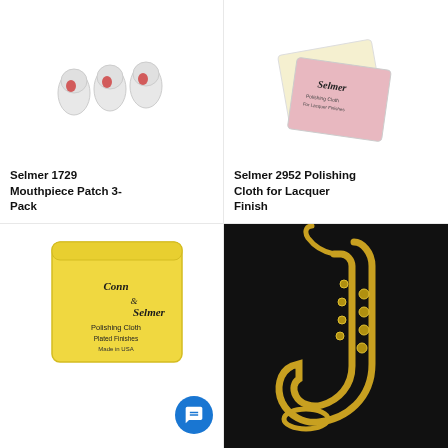[Figure (photo): Three white mouthpiece patches with red brand marks - Selmer 1729 Mouthpiece Patch 3-Pack]
Selmer 1729 Mouthpiece Patch 3-Pack
[Figure (photo): Two Selmer polishing cloths - one cream/yellow and one pink - for lacquer finish]
Selmer 2952 Polishing Cloth for Lacquer Finish
[Figure (photo): Yellow Conn-Selmer Polishing Cloth for Plated Finishes, Made in USA]
[Figure (photo): Gold saxophone on dark background]